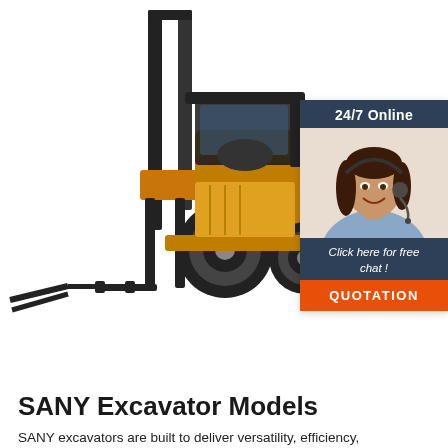[Figure (photo): Yellow and black forklift with forks extended forward, on white background]
[Figure (infographic): 24/7 Online chat widget with a smiling female customer service agent wearing a headset, dark blue header reading '24/7 Online', dark blue footer with italic text 'Click here for free chat!', and an orange button labeled 'QUOTATION']
SANY Excavator Models
SANY excavators are built to deliver versatility, efficiency,